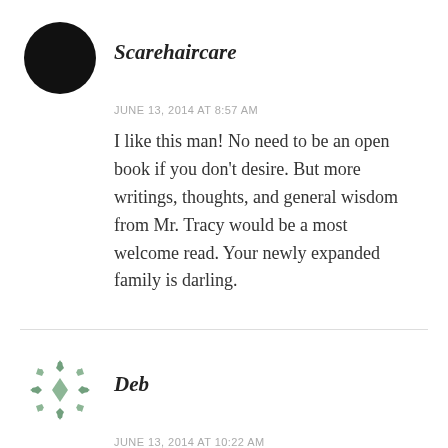[Figure (illustration): Black filled circle avatar for user Scarehaircare]
Scarehaircare
JUNE 13, 2014 AT 8:57 AM
I like this man! No need to be an open book if you don't desire. But more writings, thoughts, and general wisdom from Mr. Tracy would be a most welcome read. Your newly expanded family is darling.
[Figure (illustration): Green snowflake/quilt pattern avatar for user Deb]
Deb
JUNE 13, 2014 AT 10:22 AM